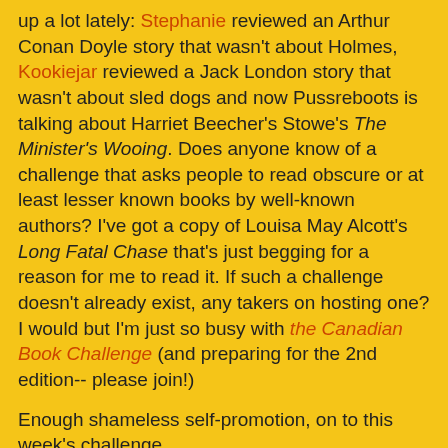up a lot lately: Stephanie reviewed an Arthur Conan Doyle story that wasn't about Holmes, Kookiejar reviewed a Jack London story that wasn't about sled dogs and now Pussreboots is talking about Harriet Beecher's Stowe's The Minister's Wooing. Does anyone know of a challenge that asks people to read obscure or at least lesser known books by well-known authors? I've got a copy of Louisa May Alcott's Long Fatal Chase that's just begging for a reason for me to read it. If such a challenge doesn't already exist, any takers on hosting one? I would but I'm just so busy with the Canadian Book Challenge (and preparing for the 2nd edition-- please join!)
Enough shameless self-promotion, on to this week's challenge...
Remember, vote simply by adding your comment below, base it on whatever merit you choose, voting does not end until Tuesday at 11:59 p.m. (April 8, 2008), and please spread the word!
Who's better?